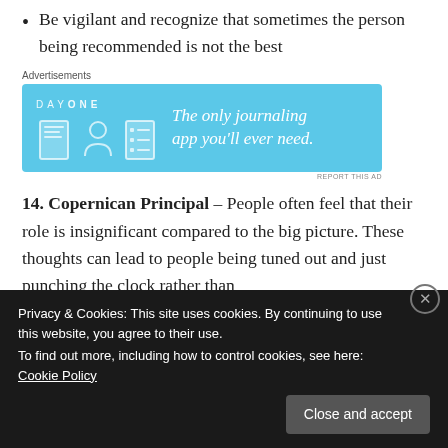Be vigilant and recognize that sometimes the person being recommended is not the best
[Figure (screenshot): Advertisement banner for Day One journaling app with blue background, showing app icons and text 'The only journaling app you'll ever need.']
14. Copernican Principal – People often feel that their role is insignificant compared to the big picture. These thoughts can lead to people being tuned out and just punching the clock rather than
Privacy & Cookies: This site uses cookies. By continuing to use this website, you agree to their use.
To find out more, including how to control cookies, see here: Cookie Policy